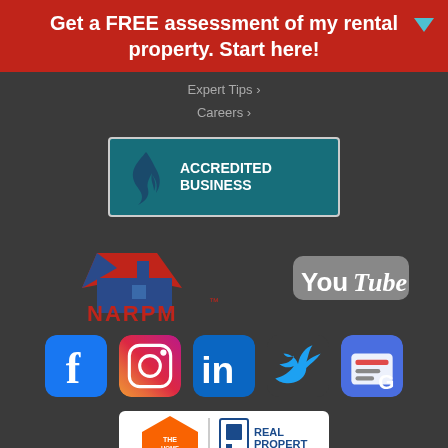Get a FREE assessment of my rental property. Start here!
Expert Tips ›
Careers ›
[Figure (logo): BBB Accredited Business badge with teal background]
[Figure (logo): NARPM logo with house roof icon in red and blue]
[Figure (logo): YouTube logo]
[Figure (logo): Social media icons: Facebook, Instagram, LinkedIn, Twitter, Google My Business]
[Figure (logo): The Home Depot and Real Property Management logos side by side on white background]